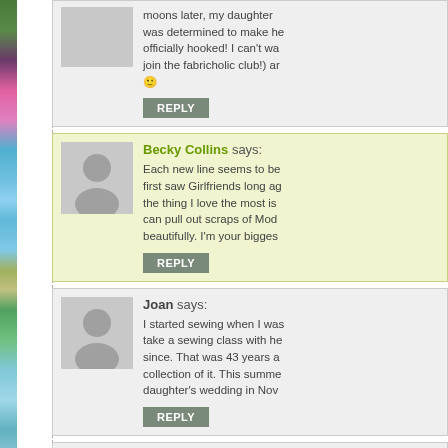moons later, my daughter was determined to make he officially hooked! I can't wa join the fabricholic club!) ar 🙂
REPLY
Becky Collins says:
Each new line seems to be first saw Girlfriends long ag the thing I love the most is can pull out scraps of Mod beautifully. I'm your bigges
REPLY
Joan says:
I started sewing when I was take a sewing class with he since. That was 43 years a collection of it. This summe daughter's wedding in Nov
REPLY